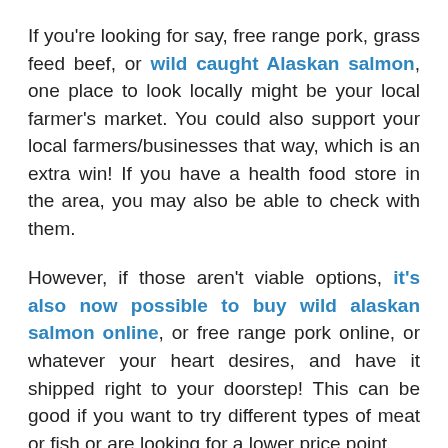If you're looking for say, free range pork, grass feed beef, or wild caught Alaskan salmon, one place to look locally might be your local farmer's market. You could also support your local farmers/businesses that way, which is an extra win! If you have a health food store in the area, you may also be able to check with them.
However, if those aren't viable options, it's also now possible to buy wild alaskan salmon online, or free range pork online, or whatever your heart desires, and have it shipped right to your doorstep! This can be good if you want to try different types of meat or fish or are looking for a lower price point.
Source your food responsibly, if you can. It does make